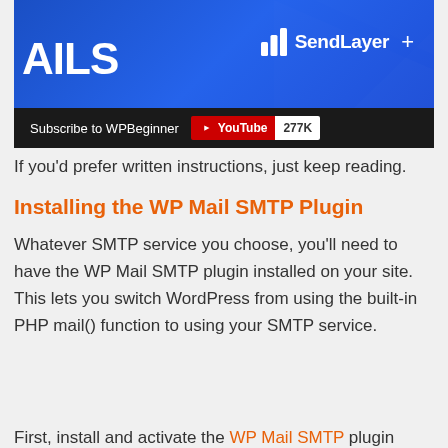[Figure (screenshot): Video thumbnail showing 'MAILS' text in white on blue background with SendLayer logo and a YouTube subscribe button showing 277K subscribers]
If you'd prefer written instructions, just keep reading.
Installing the WP Mail SMTP Plugin
Whatever SMTP service you choose, you'll need to have the WP Mail SMTP plugin installed on your site. This lets you switch WordPress from using the built-in PHP mail() function to using your SMTP service.
First, install and activate the WP Mail SMTP plugin